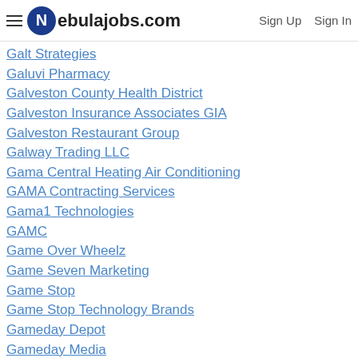Nebulajobs.com | Sign Up | Sign In
Galpin Honda
Gals on and off the Green
Galt Strategies
Galuvi Pharmacy
Galveston County Health District
Galveston Insurance Associates GIA
Galveston Restaurant Group
Galway Trading LLC
Gama Central Heating Air Conditioning
GAMA Contracting Services
Gama1 Technologies
GAMC
Game Over Wheelz
Game Seven Marketing
Game Stop
Game Stop Technology Brands
Gameday Depot
Gameday Media
Gamer Logistics
Gamer Packaging Inc
Games Workshop
Games2U Twin Cities